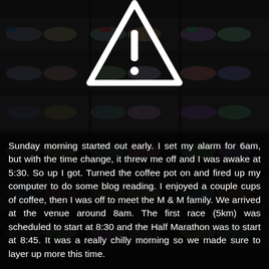[Figure (photo): Dark background photo of a shoe store with shelves full of sneakers/running shoes stacked on multiple rows. A large white warning triangle with exclamation mark is overlaid at the top center of the image.]
Sunday morning started out early. I set my alarm for 6am, but with the time change, it threw me off and I was awake at 5:30. So up I got. Turned the coffee pot on and fired up my computer to do some blog reading. I enjoyed a couple cups of coffee, then I was off to meet the M & M family. We arrived at the venue around 8am. The first race (5km) was scheduled to start at 8:30 and the Half Marathon was to start at 8:45. It was a really chilly morning so we made sure to layer up more this time.